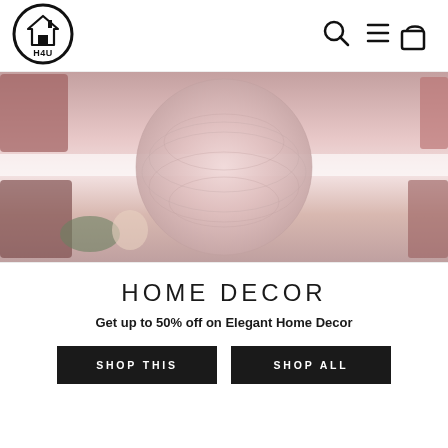[Figure (logo): H4U home decor brand logo: a black circle with a house silhouette icon and text H4U inside]
[Figure (illustration): Navigation icons: magnifying glass (search), hamburger menu (three lines), shopping bag]
[Figure (photo): Hero banner image showing home decor items in pink/red tones with a textured woven vase in the center]
HOME DECOR
Get up to 50% off on Elegant Home Decor
SHOP THIS
SHOP ALL